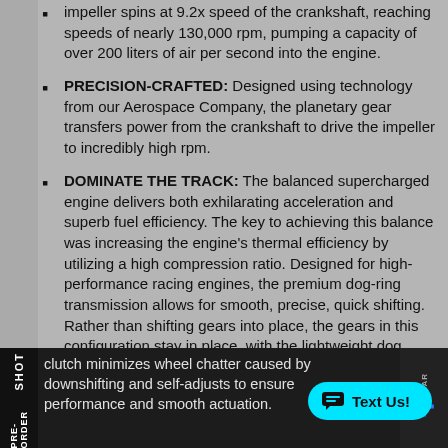impeller spins at 9.2x speed of the crankshaft, reaching speeds of nearly 130,000 rpm, pumping a capacity of over 200 liters of air per second into the engine.
PRECISION-CRAFTED: Designed using technology from our Aerospace Company, the planetary gear transfers power from the crankshaft to drive the impeller to incredibly high rpm.
DOMINATE THE TRACK: The balanced supercharged engine delivers both exhilarating acceleration and superb fuel efficiency. The key to achieving this balance was increasing the engine’s thermal efficiency by utilizing a high compression ratio. Designed for high-performance racing engines, the premium dog-ring transmission allows for smooth, precise, quick shifting. Rather than shifting gears into place, the gears in this configuration stay in place, with the lightweight dog rings moving to engage the gears. A high-quality hydraulic Assist and Slip clutch minimizes wheel chatter caused by downshifting and self-adjusts to ensure performance and smooth actuation.